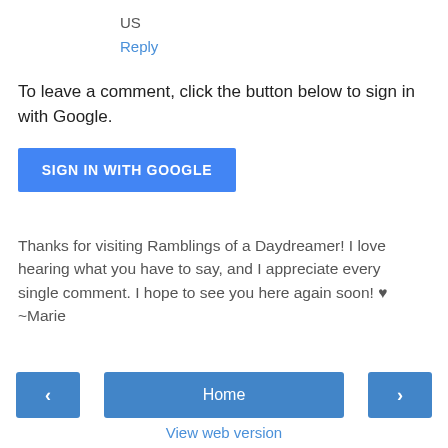US
Reply
To leave a comment, click the button below to sign in with Google.
[Figure (other): SIGN IN WITH GOOGLE button — a blue rectangular button with white uppercase text]
Thanks for visiting Ramblings of a Daydreamer! I love hearing what you have to say, and I appreciate every single comment. I hope to see you here again soon! ♥
~Marie
[Figure (other): Navigation bar with left arrow button, Home button, and right arrow button]
View web version
Powered by Blogger.